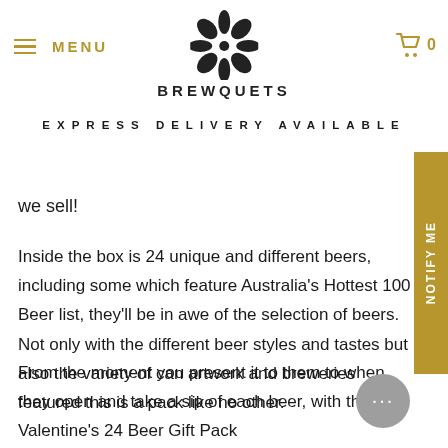MENU  [Brewquets logo]  0
EXPRESS DELIVERY AVAILABLE
we sell!
Inside the box is 24 unique and different beers, including some which feature Australia's Hottest 100 Beer list, they'll be in awe of the selection of beers. Not only with the different beer styles and tastes but also the variety of can artwork and breweries featured this is a pack like no other.
From the moment you present it to them to when they open and take a sip of each beer, with the Valentine's 24 Beer Gift Pack